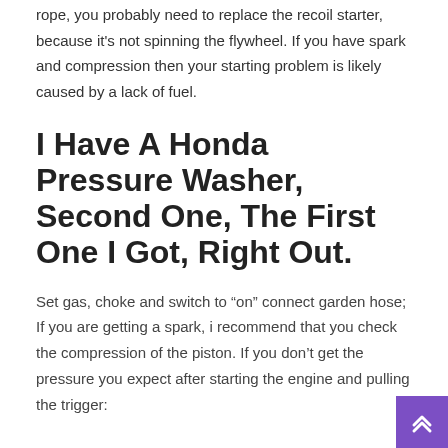rope, you probably need to replace the recoil starter, because it's not spinning the flywheel. If you have spark and compression then your starting problem is likely caused by a lack of fuel.
I Have A Honda Pressure Washer, Second One, The First One I Got, Right Out.
Set gas, choke and switch to “on” connect garden hose; If you are getting a spark, i recommend that you check the compression of the piston. If you don’t get the pressure you expect after starting the engine and pulling the trigger: